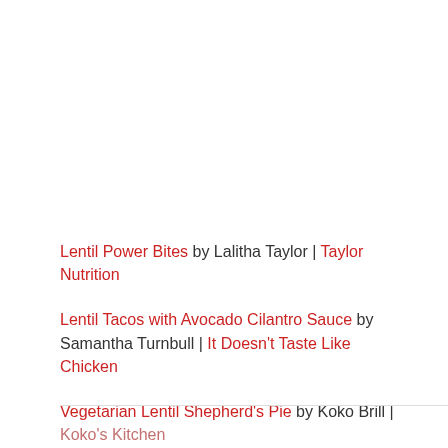Lentil Power Bites by Lalitha Taylor | Taylor Nutrition
Lentil Tacos with Avocado Cilantro Sauce by Samantha Turnbull | It Doesn't Taste Like Chicken
Vegetarian Lentil Shepherd's Pie by Koko Brill | Koko's Kitchen